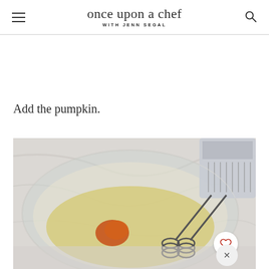once upon a chef WITH JENN SEGAL
Add the pumpkin.
[Figure (photo): A glass mixing bowl containing a yellow batter mixture with a dollop of orange pumpkin puree added, with a hand electric mixer beaters visible on the right side, set on a marble surface.]